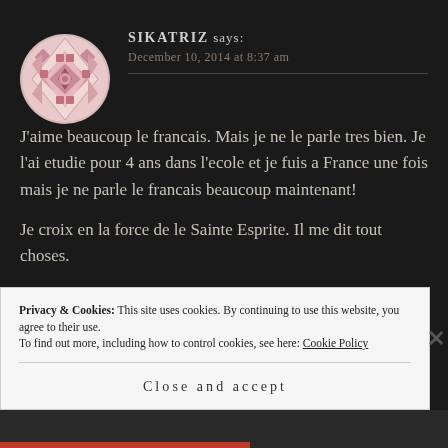[Figure (illustration): Circular avatar with pink geometric quilt/diamond pattern on dark background]
SIKATRIZ says:
December 10, 2014 at 8:37 am
J'aime beaucoup le francais. Mais je ne le parle tres bien. Je l'ai etudie pour 4 ans dans l'ecole et je fuis a France une fois mais je ne parle le francais beaucoup maintenant!
Je croix en la force de le Sainte Esprite. Il me dit tout choses.
Privacy & Cookies: This site uses cookies. By continuing to use this website, you agree to their use.
To find out more, including how to control cookies, see here: Cookie Policy
Close and accept